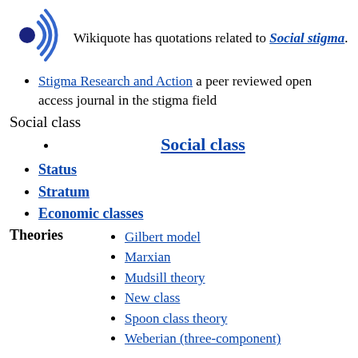[Figure (logo): Wikiquote speaker icon in blue]
Wikiquote has quotations related to Social stigma.
Stigma Research and Action a peer reviewed open access journal in the stigma field
Social class
Social class
Status
Stratum
Economic classes
Gilbert model
Marxian
Mudsill theory
New class
Spoon class theory
Weberian (three-component)
Caste
Chattering classes
Class conflict